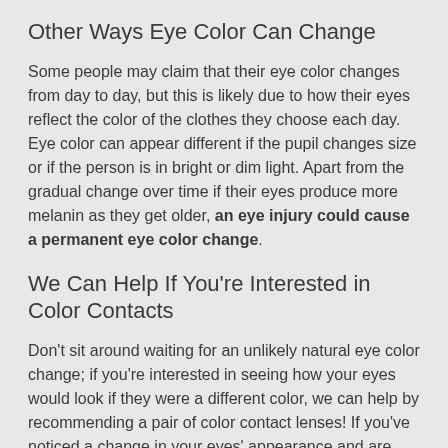Other Ways Eye Color Can Change
Some people may claim that their eye color changes from day to day, but this is likely due to how their eyes reflect the color of the clothes they choose each day. Eye color can appear different if the pupil changes size or if the person is in bright or dim light. Apart from the gradual change over time if their eyes produce more melanin as they get older, an eye injury could cause a permanent eye color change.
We Can Help If You're Interested in Color Contacts
Don't sit around waiting for an unlikely natural eye color change; if you're interested in seeing how your eyes would look if they were a different color, we can help by recommending a pair of color contact lenses! If you've noticed a change in your eyes' appearance and are